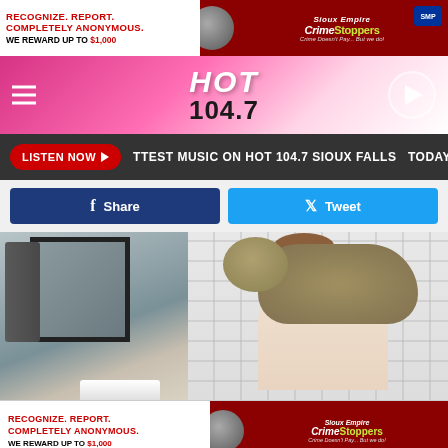[Figure (other): Sioux Empire Crime Stoppers advertisement banner at top: 'RECOGNIZE. REPORT. COMPLETELY ANONYMOUS. WE REWARD UP TO $1,000']
[Figure (logo): HOT 104.7 radio station header with pink gradient background, hamburger menu on left, play button on right]
LISTEN NOW ▶  TTEST MUSIC ON HOT 104.7 SIOUX FALLS  TODAY
[Figure (other): Facebook Share button (dark blue) and Twitter Tweet button (light blue)]
[Figure (photo): Photo of a bearded man smiling in a bathroom while a tabby cat stands on his head/shoulder, white tile walls visible with a mirror in the background]
[Figure (other): Sioux Empire Crime Stoppers advertisement banner at bottom: 'RECOGNIZE. REPORT. COMPLETELY ANONYMOUS. WE REWARD UP TO $1,000']